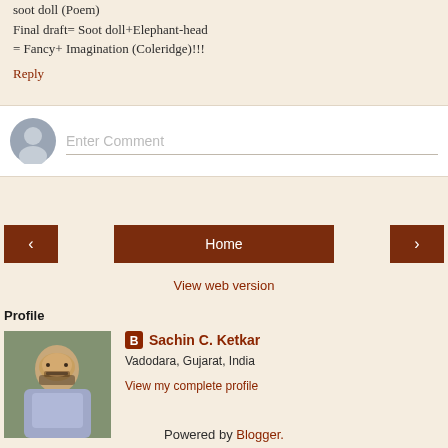soot doll (Poem)
Final draft= Soot doll+Elephant-head
= Fancy+ Imagination (Coleridge)!!!
Reply
[Figure (other): Comment input box with user avatar placeholder and 'Enter Comment' placeholder text]
[Figure (other): Navigation buttons: left arrow, Home, right arrow]
View web version
Profile
[Figure (photo): Profile photo of Sachin C. Ketkar, a man with a mustache wearing a light blue shirt]
Sachin C. Ketkar
Vadodara, Gujarat, India
View my complete profile
Powered by Blogger.